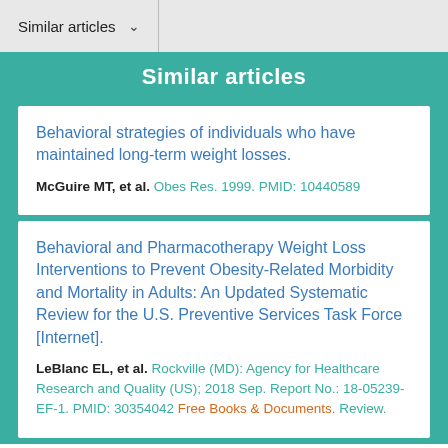Similar articles ∨
Similar articles
Behavioral strategies of individuals who have maintained long-term weight losses.
McGuire MT, et al. Obes Res. 1999. PMID: 10440589
Behavioral and Pharmacotherapy Weight Loss Interventions to Prevent Obesity-Related Morbidity and Mortality in Adults: An Updated Systematic Review for the U.S. Preventive Services Task Force [Internet].
LeBlanc EL, et al. Rockville (MD): Agency for Healthcare Research and Quality (US); 2018 Sep. Report No.: 18-05239-EF-1. PMID: 30354042 Free Books & Documents. Review.